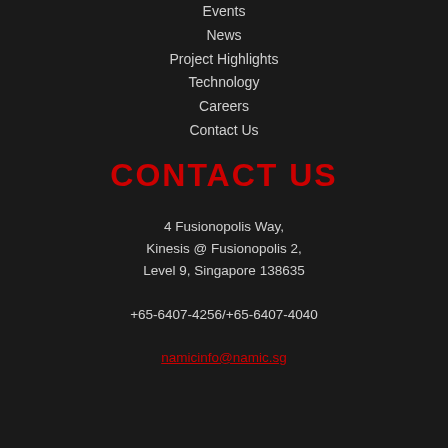Events
News
Project Highlights
Technology
Careers
Contact Us
CONTACT US
4 Fusionopolis Way,
Kinesis @ Fusionopolis 2,
Level 9, Singapore 138635
+65-6407-4256/+65-6407-4040
namicinfo@namic.sg